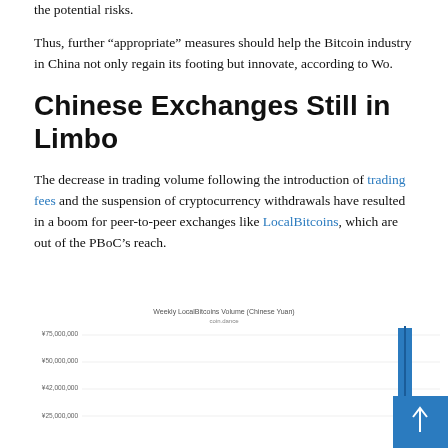the potential risks.
Thus, further “appropriate” measures should help the Bitcoin industry in China not only regain its footing but innovate, according to Wo.
Chinese Exchanges Still in Limbo
The decrease in trading volume following the introduction of trading fees and the suspension of cryptocurrency withdrawals have resulted in a boom for peer-to-peer exchanges like LocalBitcoins, which are out of the PBoC’s reach.
[Figure (bar-chart): Partial bar chart showing weekly LocalBitcoins volume in Chinese Yuan, with y-axis labels visible (¥75,000,000, ¥50,000,000, ¥42,000,000, ¥25,000,000) and a tall blue bar at the right edge. Chart is cropped at bottom of page.]